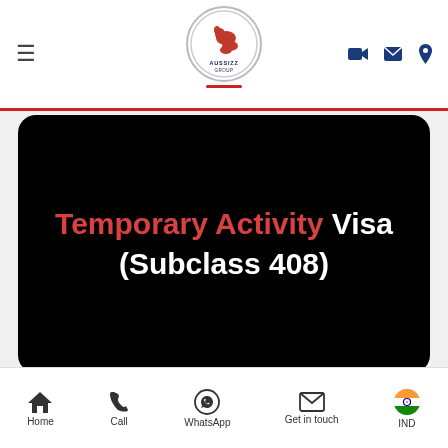[Figure (logo): Aussizz Group logo — kangaroo in a circle with text AUSSIZZ GROUP]
[Figure (screenshot): Black hero banner with text: Temporary Activity Visa (Subclass 408) in red and white bold text]
Temporary Activity Visa (Subclass 408)
Home | Call | WhatsApp | Get in touch | IND